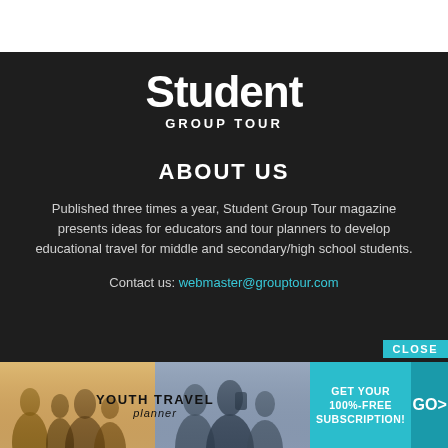[Figure (logo): Student Group Tour logo — 'Student' in large bold white text, 'GROUP TOUR' in smaller spaced white caps below, on dark background]
ABOUT US
Published three times a year, Student Group Tour magazine presents ideas for educators and tour planners to develop educational travel for middle and secondary/high school students.
Contact us: webmaster@grouptour.com
[Figure (infographic): Banner advertisement for Youth Travel Planner — left side has photos of youth silhouettes, center has 'YOUTH TRAVEL planner' text, right teal section says 'GET YOUR 100%-FREE SUBSCRIPTION!' with a GO> button. A CLOSE button appears at top right.]